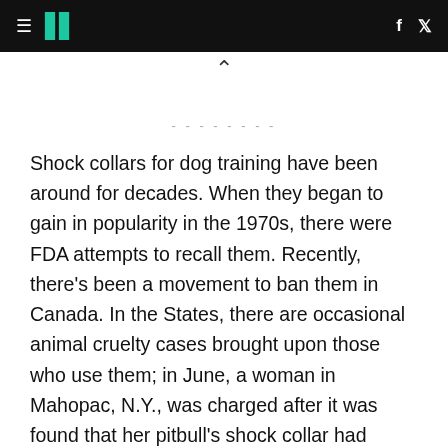≡ // f 🐦
^
- - - - - - - -
Shock collars for dog training have been around for decades. When they began to gain in popularity in the 1970s, there were FDA attempts to recall them. Recently, there's been a movement to ban them in Canada. In the States, there are occasional animal cruelty cases brought upon those who use them; in June, a woman in Mahopac, N.Y., was charged after it was found that her pitbull's shock collar had become permanently embedded in his neck.